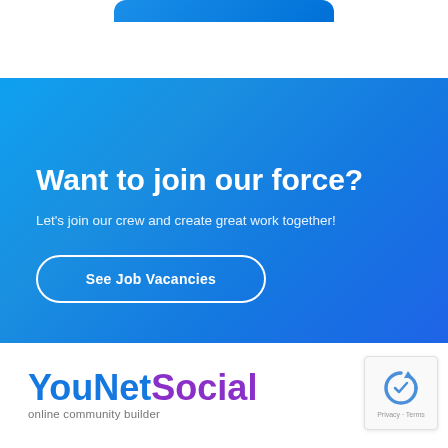[Figure (other): Partial blue rounded button visible at top of page]
[Figure (infographic): Blue gradient banner section with call-to-action: 'Want to join our force?', subtitle, and 'See Job Vacancies' button]
Want to join our force?
Let's join our crew and create great work together!
See Job Vacancies
[Figure (logo): YouNetSocial logo with tagline 'online community builder']
[Figure (other): reCAPTCHA widget showing Privacy and Terms links]